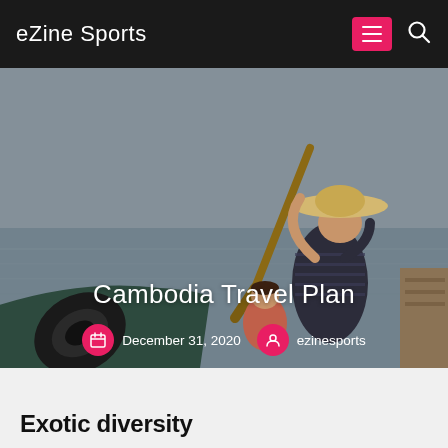eZine Sports
[Figure (photo): Person wearing a straw hat rowing a wooden boat on water, with a tire visible on the bow and a child seated in the boat. Cambodia travel themed image.]
Cambodia Travel Plan
December 31, 2020   ezinesports
Exotic diversity